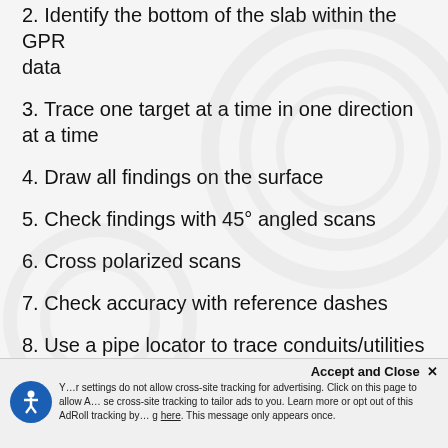2. Identify the bottom of the slab within the GPR data
3. Trace one target at a time in one direction at a time
4. Draw all findings on the surface
5. Check findings with 45° angled scans
6. Cross polarized scans
7. Check accuracy with reference dashes
8. Use a pipe locator to trace conduits/utilities
9. Passive sweep
10. Mark scan boundaries
11. Document findings
Accept and Close ×  Your browser settings do not allow cross-site tracking for advertising. Click on this page to allow AdRoll to use cross-site tracking to tailor ads to you. Learn more or opt out of this AdRoll tracking by clicking here. This message only appears once.